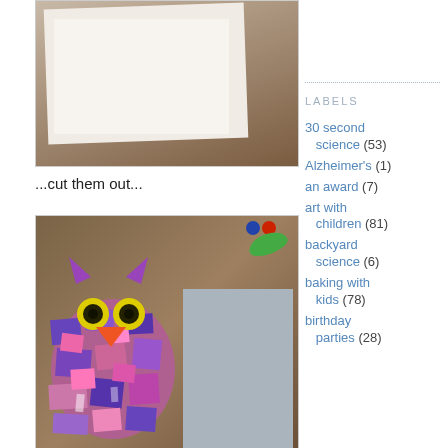[Figure (photo): Photo of white crumpled paper on wooden surface]
...cut them out...
[Figure (photo): Photo of a colorful paper mosaic owl made from cut pieces of purple, pink, and blue paper with yellow eyes and orange beak, alongside a gray card]
LABELS
30 second science (53)
Alzheimer's (1)
an award (7)
art with children (81)
backyard science (6)
baking with kids (78)
birthday parties (28)